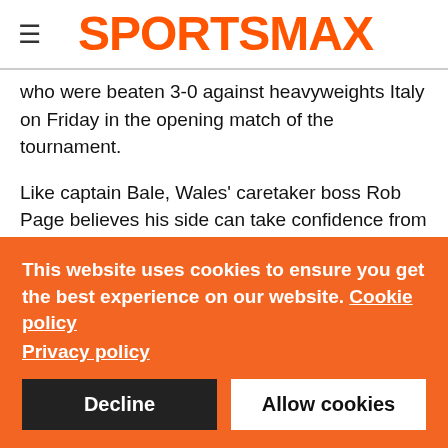SPORTSMAX
who were beaten 3-0 against heavyweights Italy on Friday in the opening match of the tournament.
Like captain Bale, Wales' caretaker boss Rob Page believes his side can take confidence from the point gained against Switzerland.
"We wanted a positive start and it feels like a win in the changing room. We had to dig deep at the end and we had a bit of Lady Luck," he told BBC Sport.
This website uses cookies to ensure you get the best experience on our website. Cookie policy Privacy policy
Decline
Allow cookies